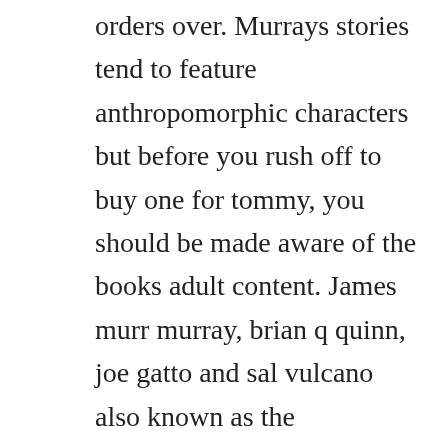orders over. Murrays stories tend to feature anthropomorphic characters but before you rush off to buy one for tommy, you should be made aware of the books adult content. James murr murray, brian q quinn, joe gatto and sal vulcano also known as the tenderloins have an authentic relatability and millions of passionate fans. Explore books by james murray with our selection at. James murray booking agent, manager, and publicist contact info. James murr murray d james stephen murr murray is a member of the new york based comedy troupe the tenderloins and is